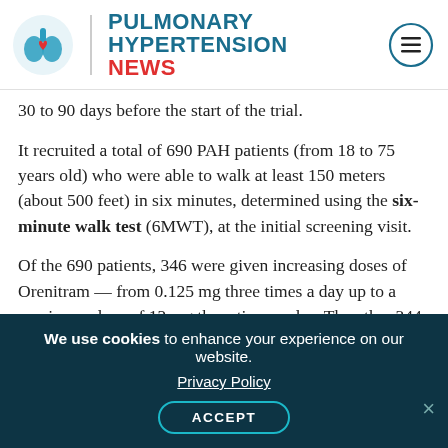PULMONARY HYPERTENSION NEWS
30 to 90 days before the start of the trial.
It recruited a total of 690 PAH patients (from 18 to 75 years old) who were able to walk at least 150 meters (about 500 feet) in six minutes, determined using the six-minute walk test (6MWT), at the initial screening visit.
Of the 690 patients, 346 were given increasing doses of Orenitram — from 0.125 mg three times a day up to a maximum dose of 12 mg three times a day. The other 344 patients received a placebo treatment (control group).
We use cookies to enhance your experience on our website. Privacy Policy ACCEPT